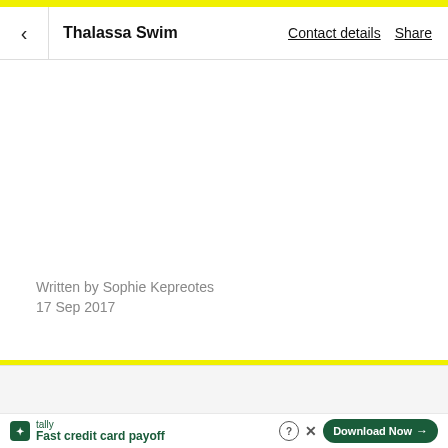< Thalassa Swim  Contact details  Share
Written by Sophie Kepreotes
17 Sep 2017
[Figure (screenshot): Yellow top accent bar on the page header]
Fast credit card payoff
Download Now →